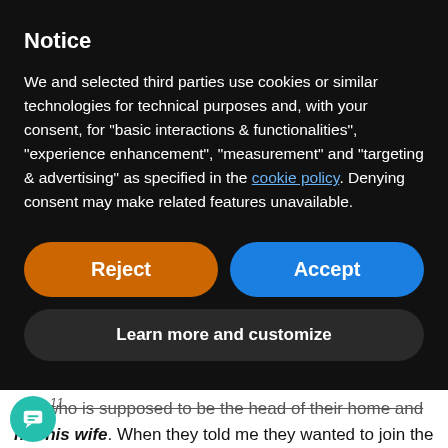Notice
We and selected third parties use cookies or similar technologies for technical purposes and, with your consent, for “basic interactions & functionalities”, “experience enhancement”, “measurement” and “targeting & advertising” as specified in the cookie policy. Denying consent may make related features unavailable.
Reject
Accept
Learn more and customize
son who is supposed to be the head of their home and not his wife. When they told me they wanted to join the “Full Gospel Church” (“Volle Evangelie Kerk”), I warned them against it because they would be getting involved in many teachings.